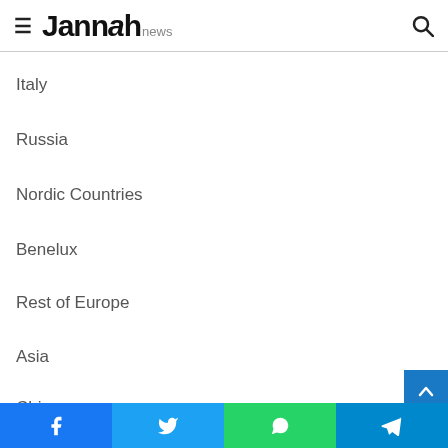Jannah news
Italy
Russia
Nordic Countries
Benelux
Rest of Europe
Asia
China
Facebook Twitter WhatsApp Telegram share buttons